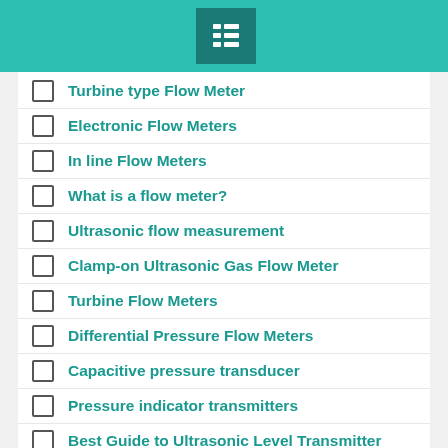[Figure (other): Teal header bar with a menu/list icon box in the center-top]
Turbine type Flow Meter
Electronic Flow Meters
In line Flow Meters
What is a flow meter?
Ultrasonic flow measurement
Clamp-on Ultrasonic Gas Flow Meter
Turbine Flow Meters
Differential Pressure Flow Meters
Capacitive pressure transducer
Pressure indicator transmitters
Best Guide to Ultrasonic Level Transmitter
Continuous Level Measurement